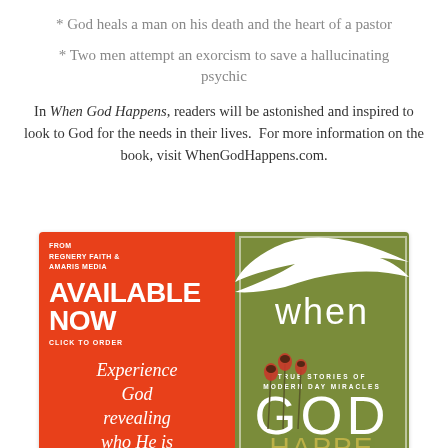* God heals a man on his death and the heart of a pastor
* Two men attempt an exorcism to save a hallucinating psychic
In When God Happens, readers will be astonished and inspired to look to God for the needs in their lives.  For more information on the book, visit WhenGodHappens.com.
[Figure (illustration): Book advertisement for 'When God Happens' with red and green cover, showing 'AVAILABLE NOW CLICK TO ORDER', 'Experience God revealing who He is through the miraculous', 'TRUE STORIES OF MODERN DAY MIRACLES', 'ANGELA HUNT AND BILL MYERS', published by Regnery Faith & Amaris Media]